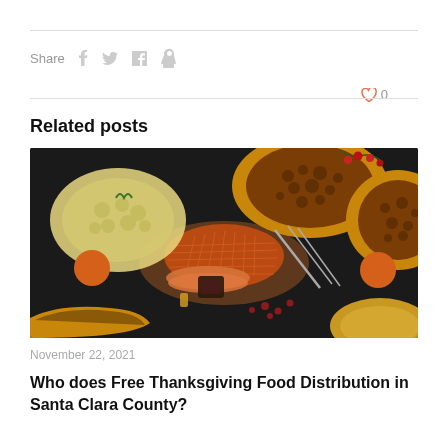Share  f  t  in  ♟  ♡ 0
Related posts
[Figure (photo): Overhead flat-lay photo of a Thanksgiving food spread on a dark background, including a glazed ham on a cutting board, pecan pies, mashed potatoes, cranberries, and candles.]
November 22, 2021
Who does Free Thanksgiving Food Distribution in Santa Clara County?